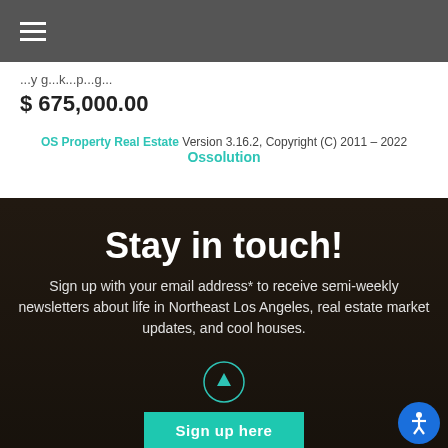Navigation bar with hamburger menu
$ 675,000.00
OS Property Real Estate Version 3.16.2, Copyright (C) 2011 – 2022 Ossolution
Stay in touch!
Sign up with your email address* to receive semi-weekly newsletters about life in Northeast Los Angeles, real estate market updates, and cool houses.
Sign up here